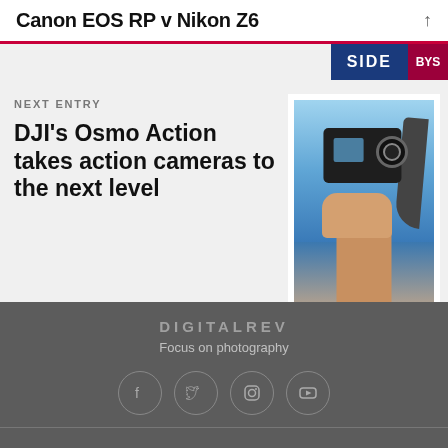Canon EOS RP v Nikon Z6
SIDE
NEXT ENTRY
DJI's Osmo Action takes action cameras to the next level
[Figure (photo): A hand emerging from water holding a DJI Osmo Action camera, with a dark fin visible in the background against a blue sky and ocean.]
DIGITALREV
Focus on photography
[Figure (infographic): Social media icons: Facebook, Twitter, Instagram, YouTube inside circular borders]
CAREER